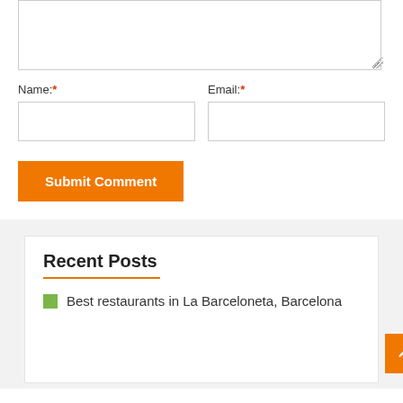[Figure (screenshot): Comment form textarea (empty, resizable)]
Name:*
[Figure (screenshot): Name input field (empty)]
Email:*
[Figure (screenshot): Email input field (empty)]
Submit Comment
Recent Posts
Best restaurants in La Barceloneta, Barcelona